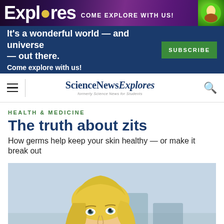[Figure (illustration): Science News Explores banner ad with purple background showing the word 'Explores' in large text and 'Come Explore With Us!' tagline]
It's a wonderful world — and universe — out there. Come explore with us!
ScienceNewsExplores
HEALTH & MEDICINE
The truth about zits
How germs help keep your skin healthy — or make it break out
[Figure (photo): Young blonde woman smiling and looking upward, photographed outdoors with blurred background of street and cars]